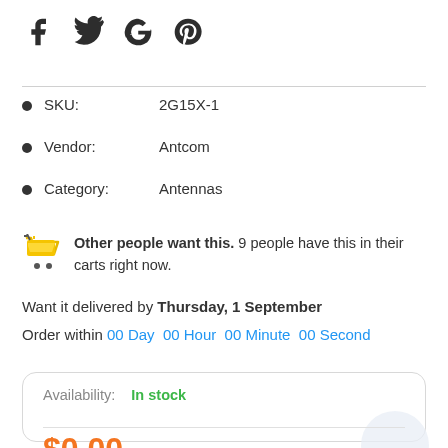[Figure (other): Social media share icons: Facebook (f), Twitter (bird), Google (G), Pinterest (p)]
SKU: 2G15X-1
Vendor: Antcom
Category: Antennas
Other people want this. 9 people have this in their carts right now.
Want it delivered by Thursday, 1 September
Order within 00 Day 00 Hour 00 Minute 00 Second
Availability: In stock
$0.00
Quantity